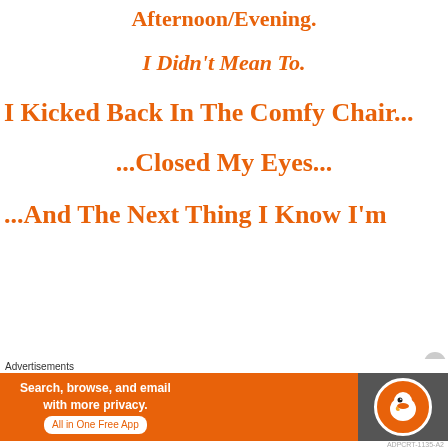Afternoon/Evening.
I Didn't Mean To.
I Kicked Back In The Comfy Chair...
...Closed My Eyes...
...And The Next Thing I Know I'm
Advertisements — Search, browse, and email with more privacy. All in One Free App — DuckDuckGo